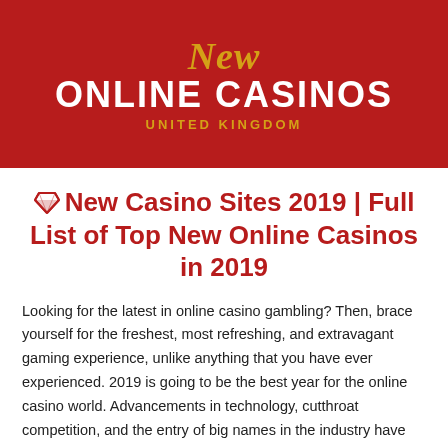[Figure (logo): New Online Casinos United Kingdom logo on dark red background with gold script 'New' above bold white 'ONLINE CASINOS' and gold 'UNITED KINGDOM']
🔷 New Casino Sites 2019 | Full List of Top New Online Casinos in 2019
Looking for the latest in online casino gambling? Then, brace yourself for the freshest, most refreshing, and extravagant gaming experience, unlike anything that you have ever experienced. 2019 is going to be the best year for the online casino world. Advancements in technology, cutthroat competition, and the entry of big names in the industry have elevated the casino experience to an entirely new level.